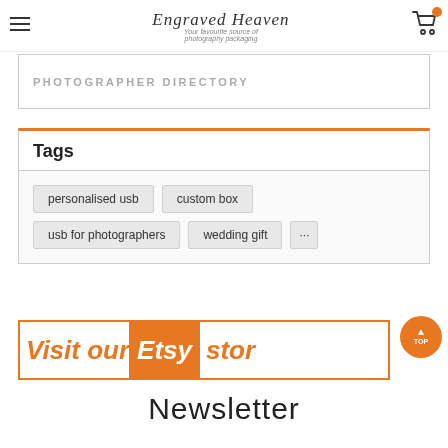Engraved Heaven — Your favourite source of photography packaging
PHOTOGRAPHER DIRECTORY
Tags
personalised usb
custom box
usb for photographers
wedding gift
[Figure (infographic): Visit our Etsy store banner with orange text and Etsy logo box]
Newsletter